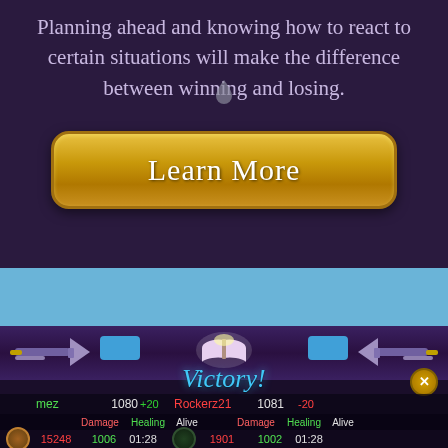Planning ahead and knowing how to react to certain situations will make the difference between winning and losing.
[Figure (screenshot): Gold rounded-rectangle button with white text saying Learn More]
[Figure (screenshot): Game victory screen showing a battle result with player stats. Player 'mez' scored 1080 (+20) vs 'Rockerz21' scored 1081 (-20). Stats show Damage, Healing, Alive columns. mez: 15248 damage, 1006 healing, 01:28. Rockerz21: 1901 damage, 1002 healing, 01:28.]